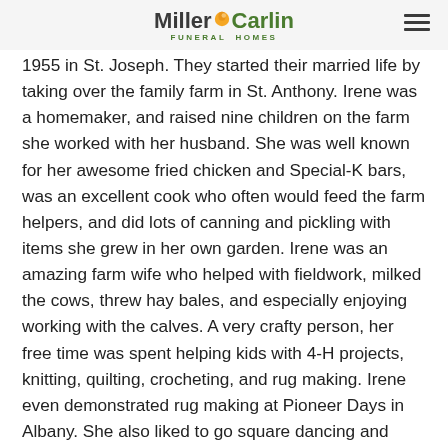Miller Carlin Funeral Homes
1955 in St. Joseph.  They started their married life by taking over the family farm in St. Anthony.  Irene was a homemaker, and raised nine children on the farm she worked with her husband.  She was well known for her awesome fried chicken and Special-K bars, was an excellent cook who often would feed the farm helpers, and did lots of canning and pickling with items she grew in her own garden.  Irene was an amazing farm wife who helped with fieldwork, milked the cows, threw hay bales, and especially enjoying working with the calves.  A very crafty person, her free time was spent helping kids with 4-H projects, knitting, quilting, crocheting, and rug making.  Irene even demonstrated rug making at Pioneer Days in Albany.  She also liked to go square dancing and would make her own dresses.  As her children became parents, Irene took on a new role and loved to spoil her grandchildren (and granddogs) with unconditional love and by always having a